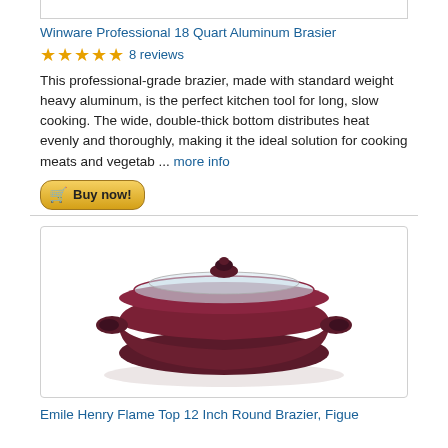Winware Professional 18 Quart Aluminum Brasier
★★★★★ 8 reviews
This professional-grade brazier, made with standard weight heavy aluminum, is the perfect kitchen tool for long, slow cooking. The wide, double-thick bottom distributes heat evenly and thoroughly, making it the ideal solution for cooking meats and vegetab ... more info
[Figure (photo): Dark red/maroon round brazier with glass lid and two handles on a white background]
Emile Henry Flame Top 12 Inch Round Brazier, Figue